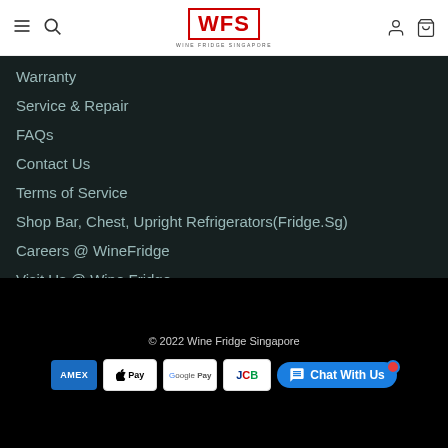WFS Wine Fridge Singapore - navigation header
Warranty
Service & Repair
FAQs
Contact Us
Terms of Service
Shop Bar, Chest, Upright Refrigerators(Fridge.Sg)
Careers @ WineFridge
Visit Us @ Wine Fridge
© 2022 Wine Fridge Singapore